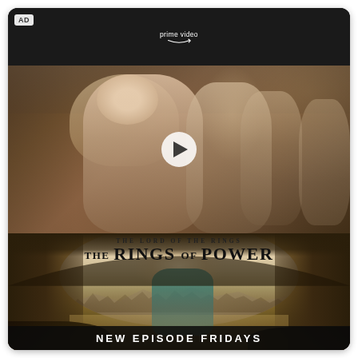[Figure (photo): Amazon Prime Video advertisement for 'The Lord of the Rings: The Rings of Power'. Top section shows Prime Video logo on dark background with an 'AD' badge. Middle section shows a video thumbnail of a blonde woman with other figures in a grand hall, with a play button overlay. Bottom section shows the show's key art with a figure standing in an archway overlooking a fantasy landscape, with the title 'THE LORD OF THE RINGS: THE RINGS OF POWER' and text 'NEW EPISODE FRIDAYS' at the bottom.]